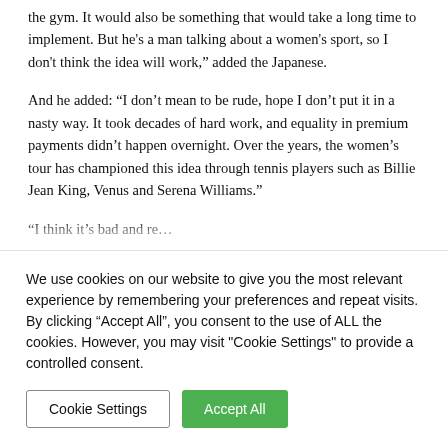the gym. It would also be something that would take a long time to implement. But he's a man talking about a women's sport, so I don't think the idea will work," added the Japanese.
And he added: “I don’t mean to be rude, hope I don’t put it in a nasty way. It took decades of hard work, and equality in premium payments didn’t happen overnight. Over the years, the women’s tour has championed this idea through tennis players such as Billie Jean King, Venus and Serena Williams.”
“I think it’s bad... [partial, cut off]
We use cookies on our website to give you the most relevant experience by remembering your preferences and repeat visits. By clicking “Accept All”, you consent to the use of ALL the cookies. However, you may visit "Cookie Settings" to provide a controlled consent.